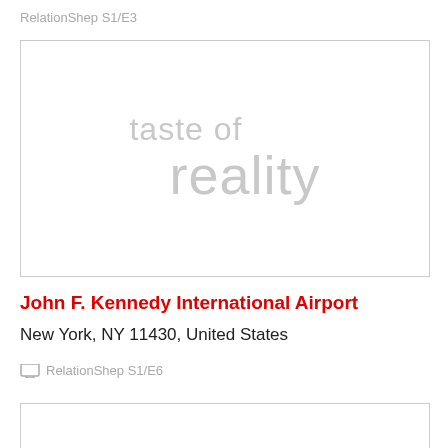RelationShep S1/E3
[Figure (logo): Taste of Reality logo with light gray text: 'taste of reality']
John F. Kennedy International Airport
New York, NY 11430, United States
RelationShep S1/E6
[Figure (other): Partial image box at bottom of page]